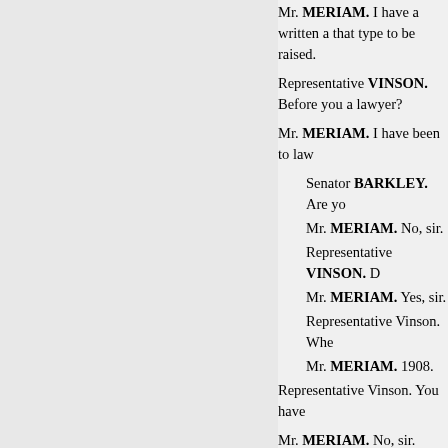Mr. MERIAM. I have a written a that type to be raised.
Representative VINSON. Before you a lawyer?
Mr. MERIAM. I have been to law
Senator BARKLEY. Are yo
Mr. MERIAM. No, sir.
Representative VINSON. D
Mr. MERIAM. Yes, sir.
Representative Vinson. Whe
Mr. MERIAM. 1908.
Representative Vinson. You have
Mr. MERIAM. No, sir.
Representative VINSON. I want
Mr. MERIAM. No; I am not muc constitutional lawyers.
Representative TABER. I think p well at this time to give us your e in, so that the committee may kn